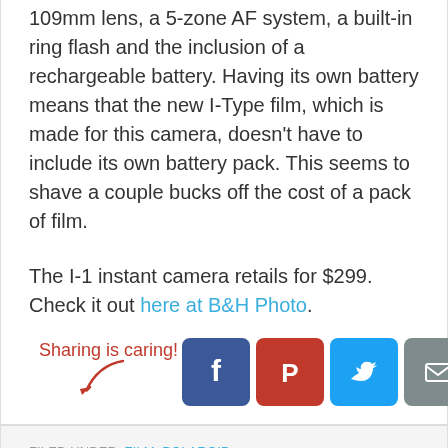109mm lens, a 5-zone AF system, a built-in ring flash and the inclusion of a rechargeable battery. Having its own battery means that the new I-Type film, which is made for this camera, doesn't have to include its own battery pack. This seems to shave a couple bucks off the cost of a pack of film.
The I-1 instant camera retails for $299. Check it out here at B&H Photo.
[Figure (infographic): Sharing is caring! text with arrow and five social media share buttons: Facebook (blue), Pinterest (red), Twitter (light blue), Email (gray), More Options (green)]
FILED UNDER: FILM, POLAROID
TAGGED WITH: FILM, I-1, I-TYPE, IMPOSSIBLE, IMPOSSIBLE